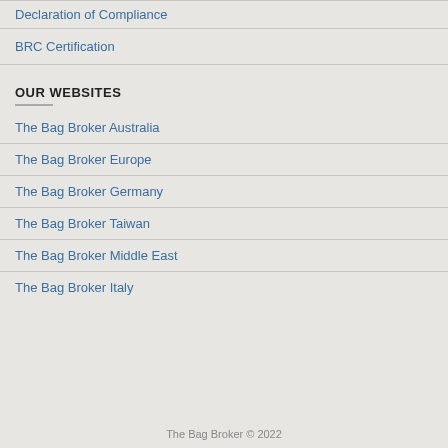Declaration of Compliance
BRC Certification
OUR WEBSITES
The Bag Broker Australia
The Bag Broker Europe
The Bag Broker Germany
The Bag Broker Taiwan
The Bag Broker Middle East
The Bag Broker Italy
The Bag Broker © 2022